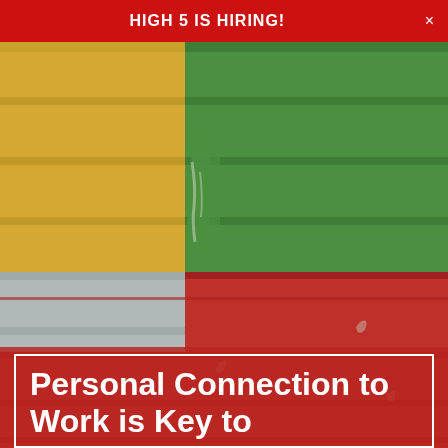HIGH 5 IS HIRING!
[Figure (photo): Close-up photo of painted wooden planks or boards in yellow, green, blue, and red colors with peeling paint texture.]
Personal Connection to Work is Key to